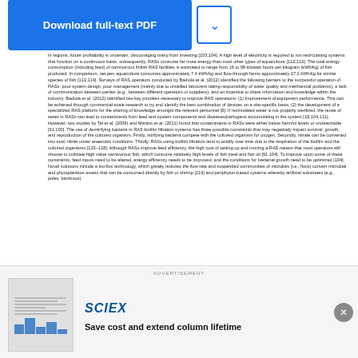[Figure (screenshot): Download full-text PDF button and dropdown arrow button in blue]
In regions, future profitability is uncertain, discouraging many from investing [103,104]. A high level of electricity is required to run recirculating systems that function on a continuous basis, subsequently, RASs consume far more energy than most other types of aquaculture [112,113]. The total energy consumption (including feed) of carnivorous finfish RAS facilities is estimated to range from 16 to 98 kilowatt hours per kilogram (kWh/kg) of fish produced. In comparison, net pen aquaculture consumes approximately 7.4 kWh/kg and flow-through farms approximately 27.2 kWh/kg for similar species of fish [113,114]. Surveys of RAS operators conducted by Badiola et al. (2012) identified the following barriers to the successful operation of RASs: poor system design, poor management (mainly due to unskilled labourers taking responsibility of water quality and mechanical problems), a lack of communication between parties (e.g., between different operators or suppliers), and an incentive to share information and knowledge within the industry. Badiola et al. (2012) identified two key priorities necessary to improve RAS operations: (1) Improvement of equipment performance. This can be achieved through commercial-scale research to try and identify the best combination of devices on a site-specific basis; (2) the development of a specialized RAS platform for the sharing of knowledge amongst the relevant personnel [8]. If recirculated water is not properly sterilized, the reuse of water in RASs can lead to contaminants from feed and system components and diseases/pathogens accumulating in the system [18,104,111]. However, two studies by Tal et al. (2009) and Martins et al. (2011) found that contaminants in RASs were either below harmful levels or undetectable [91,100]. The use of denitrifying bacteria in RAS biofilm filtration systems has three possible constraints that may negatively impact survival, growth, and reproduction of the cultured organism. Firstly, nitrifying bacteria compete with the cultured organism for oxygen. Secondly, nitrate can be converted into toxic nitrite under anaerobic conditions. Thirdly, RASs using biofilm filtration tend to acidify over time due to the respiration of the biofilm and the cultured organisms [115–118]. Although RASs improve feed efficiency, the high cost of setting up and running a RAS means that most operators will choose to cultivate high value carnivorous fish, which consume relatively high levels of fish meal and fish oil [91,104]. To improve upon some of these constraints, feed inputs need to be altered, energy efficiency needs to be improved, and the conditions for bacterial growth need to be optimized [104]. Novel solutions include a bio-floc technology, which greatly reduces the flow rate and suspended communities of microbes (i.e., flocs) convert microbial and phytoplankton assets that can be consumed directly by fish or shrimp [119] and periphyton-based systems whereby artificial substrates (e.g., poles, bamboos)
[Figure (screenshot): Advertisement banner: SCIEX logo with small document thumbnail and text 'Save cost and extend column lifetime']